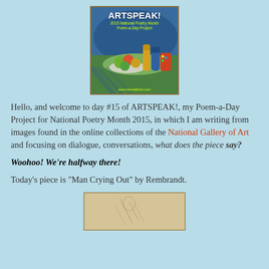[Figure (illustration): ARTSPEAK! 2015 National Poetry Month Poem-a-Day Project cover image showing a colorful still life painting with fruit and bottles, website www.irenelatham.com shown at bottom]
Hello, and welcome to day #15 of ARTSPEAK!, my Poem-a-Day Project for National Poetry Month 2015, in which I am writing from images found in the online collections of the National Gallery of Art and focusing on dialogue, conversations, what does the piece say?
Woohoo! We're halfway there!
Today's piece is "Man Crying Out" by Rembrandt.
[Figure (photo): Partial view of a Rembrandt artwork on aged paper/canvas, showing a sketch or etching, image cropped at bottom of page]